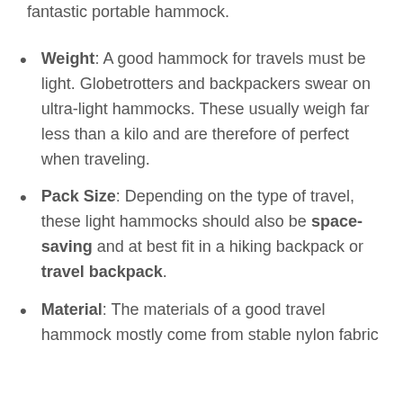fantastic portable hammock.
Weight: A good hammock for travels must be light. Globetrotters and backpackers swear on ultra-light hammocks. These usually weigh far less than a kilo and are therefore of perfect when traveling.
Pack Size: Depending on the type of travel, these light hammocks should also be space-saving and at best fit in a hiking backpack or travel backpack.
Material: The materials of a good travel hammock mostly come from stable nylon fabric